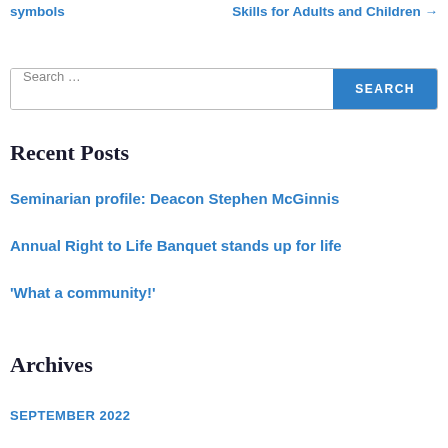symbols
Skills for Adults and Children →
[Figure (screenshot): Search bar with text input field and blue SEARCH button]
Recent Posts
Seminarian profile: Deacon Stephen McGinnis
Annual Right to Life Banquet stands up for life
'What a community!'
Archives
SEPTEMBER 2022